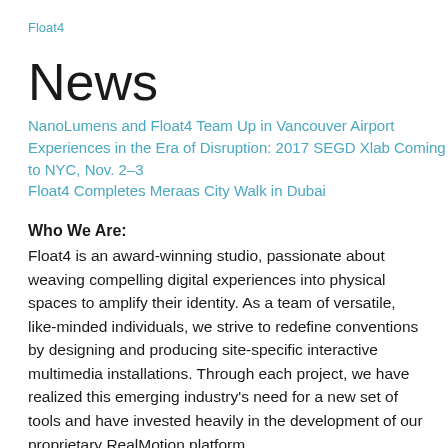Float4
News
NanoLumens and Float4 Team Up in Vancouver Airport
Experiences in the Era of Disruption: 2017 SEGD Xlab Coming to NYC, Nov. 2–3
Float4 Completes Meraas City Walk in Dubai
Who We Are:
Float4 is an award-winning studio, passionate about weaving compelling digital experiences into physical spaces to amplify their identity. As a team of versatile, like-minded individuals, we strive to redefine conventions by designing and producing site-specific interactive multimedia installations. Through each project, we have realized this emerging industry's need for a new set of tools and have invested heavily in the development of our proprietary RealMotion platform